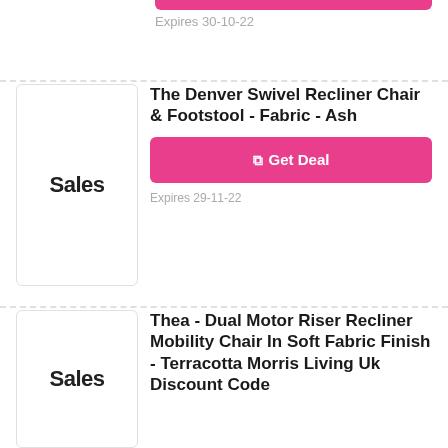Expires 30-10-22
The Denver Swivel Recliner Chair & Footstool - Fabric - Ash
Get Deal
Expires 29-11-22
Thea - Dual Motor Riser Recliner Mobility Chair In Soft Fabric Finish - Terracotta Morris Living Uk Discount Code